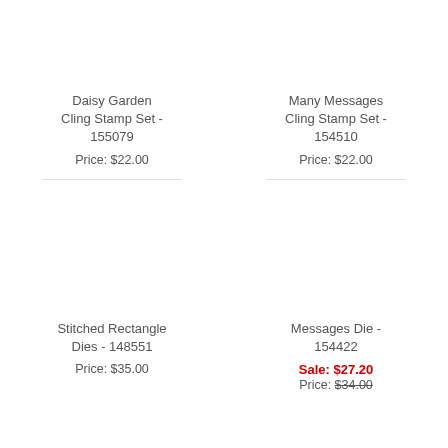[Figure (photo): Product image placeholder for Daisy Garden Cling Stamp Set]
Daisy Garden Cling Stamp Set - 155079
Price: $22.00
[Figure (photo): Product image placeholder for Many Messages Cling Stamp Set]
Many Messages Cling Stamp Set - 154510
Price: $22.00
[Figure (photo): Product image placeholder for Stitched Rectangle Dies]
Stitched Rectangle Dies - 148551
Price: $35.00
[Figure (photo): Product image placeholder for Messages Die]
Messages Die - 154422
Sale: $27.20
Price: $34.00